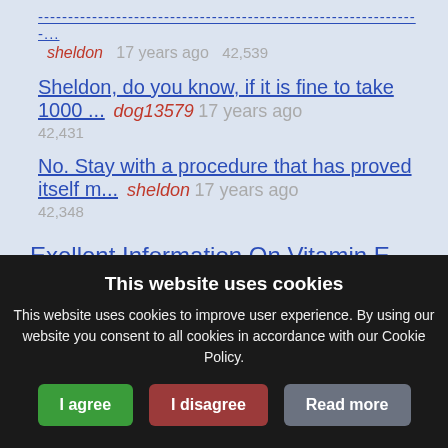----------------------------------------------------------------... sheldon 17 years ago 42,539
Sheldon, do you know, if it is fine to take 1000 ... dog13579 17 years ago 42,431
No. Stay with a procedure that has proved itself m... sheldon 17 years ago 42,348
Exellent Information On Vitamin E
sheldon 17 years ago 45,313
This website uses cookies
This website uses cookies to improve user experience. By using our website you consent to all cookies in accordance with our Cookie Policy.
I agree | I disagree | Read more